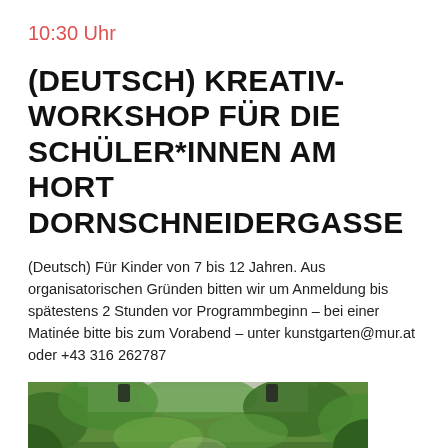10:30 Uhr
(DEUTSCH) KREATIV-WORKSHOP FÜR DIE SCHÜLER*INNEN AM HORT DORNSCHNEIDERGASSE
(Deutsch) Für Kinder von 7 bis 12 Jahren. Aus organisatorischen Gründen bitten wir um Anmeldung bis spätestens 2 Stunden vor Programmbeginn – bei einer Matinée bitte bis zum Vorabend – unter kunstgarten@mur.at oder +43 316 262787
[Figure (photo): Outdoor garden setting with people sitting at tables under a canopy, surrounded by lush green plants and trees]